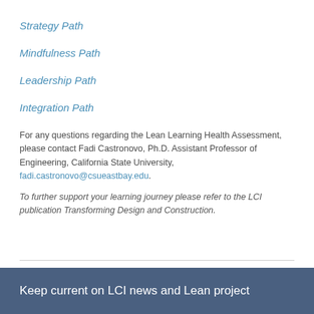Strategy Path
Mindfulness Path
Leadership Path
Integration Path
For any questions regarding the Lean Learning Health Assessment, please contact Fadi Castronovo, Ph.D. Assistant Professor of Engineering, California State University, fadi.castronovo@csueastbay.edu.
To further support your learning journey please refer to the LCI publication Transforming Design and Construction.
Keep current on LCI news and Lean project